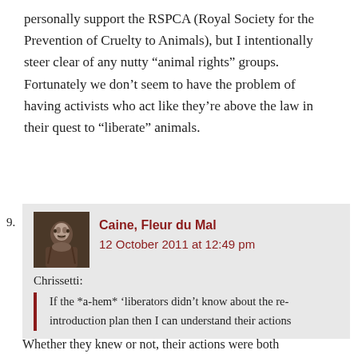personally support the RSPCA (Royal Society for the Prevention of Cruelty to Animals), but I intentionally steer clear of any nutty “animal rights” groups. Fortunately we don’t seem to have the problem of having activists who act like they’re above the law in their quest to “liberate” animals.
9.
Caine, Fleur du Mal
12 October 2011 at 12:49 pm
Chrissetti:
If the *a-hem* ‘liberators didn’t know about the re-introduction plan then I can understand their actions
Whether they knew or not, their actions were both